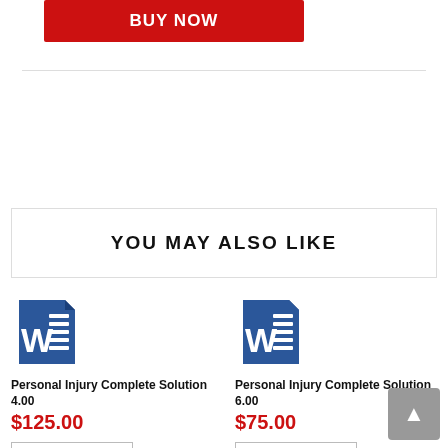[Figure (other): Red BUY NOW button at top of page]
YOU MAY ALSO LIKE
[Figure (other): Microsoft Word document icon for first product]
Personal Injury Complete Solution 4.00
$125.00
[Figure (other): BUY NOW button for first product]
[Figure (other): Microsoft Word document icon for second product]
Personal Injury Complete Solution 6.00
$75.00
[Figure (other): BUY NOW button for second product]